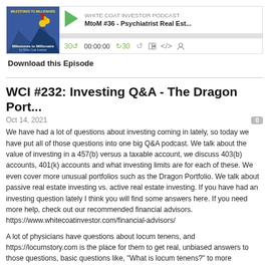[Figure (screenshot): Podcast player widget showing Milestones to Millionaire album art, play button, episode title 'WHITE COAT INVESTOR PODCAST - MtoM #36 - Psychiatrist Real Est...', progress bar, playback controls showing 30 back, 00:00:00, 30 forward, and media icons]
Download this Episode
WCI #232: Investing Q&A - The Dragon Port...
Oct 14, 2021
We have had a lot of questions about investing coming in lately, so today we have put all of those questions into one big Q&A podcast. We talk about the value of investing in a 457(b) versus a taxable account, we discuss 403(b) accounts, 401(k) accounts and what investing limits are for each of these. We even cover more unusual portfolios such as the Dragon Portfolio. We talk about passive real estate investing vs. active real estate investing. If you have had an investing question lately I think you will find some answers here. If you need more help, check out our recommended financial advisors. https://www.whitecoatinvestor.com/financial-advisors/
A lot of physicians have questions about locum tenens, and https://locumstory.com is the place for them to get real, unbiased answers to those questions, basic questions like, "What is locum tenens?" to more